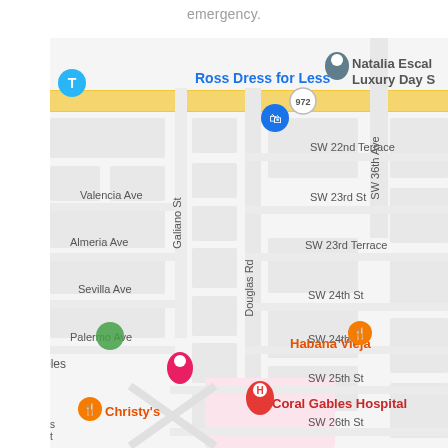emergency.
[Figure (map): Google Maps screenshot showing Coral Gables area in Miami, FL. Visible streets include Douglas Rd, Galiano St, SW 36th Ave, SW 22nd Terrace, SW 23rd St, SW 23rd Terrace, SW 24th St, SW 24th Ter, SW 25th St, SW 26th St, Valencia Ave, Almeria Ave, Sevilla Ave, Palermo Ave. Points of interest include Ross Dress for Less, Natalia Escal Luxury Day S, Habana Vieja restaurant, Christy's restaurant, Coral Gables Hospital, and hotel marker for Coral Gables.]